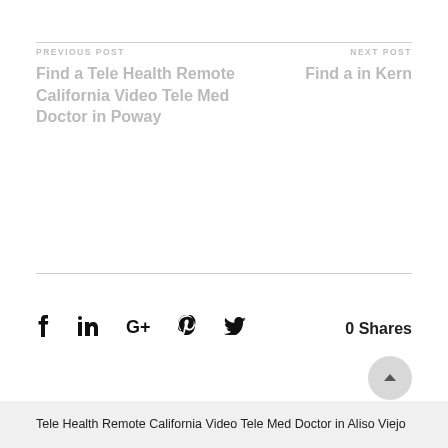PREVIOUS POST
Find a Tele Health Remote California Video Tele Med Doctor in Poway
NEXT POST
Find a in Kern
0 Shares
Tele Health Remote California Video Tele Med Doctor in Aliso Viejo